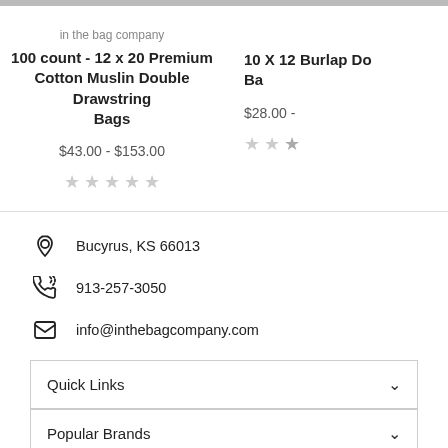in the bag company
100 count - 12 x 20 Premium Cotton Muslin Double Drawstring Bags
$43.00 - $153.00
★★★★★ (empty stars rating)
10 X 12 Burlap Double Drawstring Bags (partial)
$28.00 - (partial)
Bucyrus, KS 66013
913-257-3050
info@inthebagcompany.com
Quick Links
Popular Brands